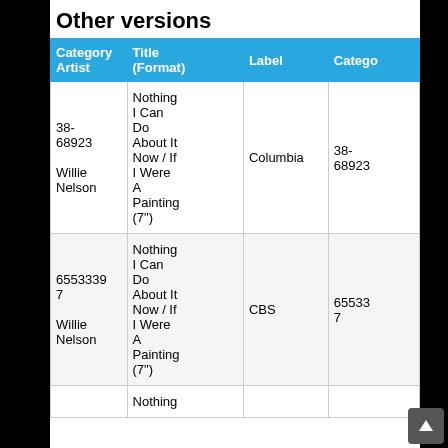Other versions
| Category Artist | Title (Format) | Label | Catego |
| --- | --- | --- | --- |
| 38-68923 | Willie Nelson | Nothing I Can Do About It Now / If I Were A Painting (7") | Columbia | 38-68923 |
| 6553397 | Willie Nelson | Nothing I Can Do About It Now / If I Were A Painting (7") | CBS | 65533 7 |
|  |  | Nothing |  |  |